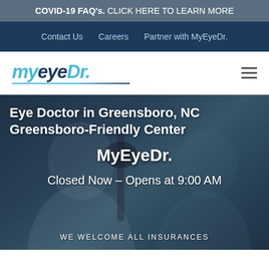COVID-19 FAQ's. CLICK HERE TO LEARN MORE
Contact Us   Careers   Partner with MyEyeDr.
[Figure (logo): MyEyeDr. logo in cyan and dark blue italic text with underline, plus hamburger menu icon]
[Figure (photo): Background photo of an eye doctor examining a patient with an ophthalmic instrument, overlaid with semi-transparent dark tint]
Eye Doctor in Greensboro, NC Greensboro-Friendly Center
MyEyeDr.
Closed Now - Opens at 9:00 AM
WE WELCOME ALL INSURANCES